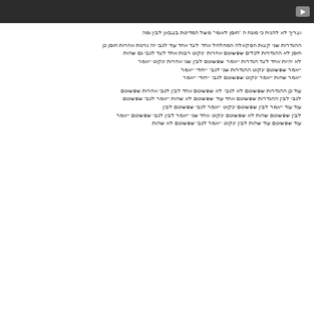[Figure (screenshot): Dark video player bar with a YouTube-style play button icon on the right]
Arabic text line referencing a quoted term and additional context
Arabic paragraph text block 1
Arabic paragraph text block 2